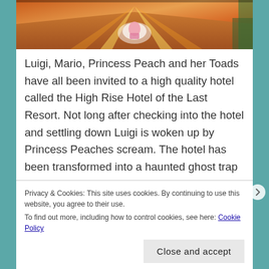[Figure (screenshot): A colorful video game screenshot showing a character in a hotel lobby with warm orange/red lighting and stylized interior design, partially cropped at the top.]
Luigi, Mario, Princess Peach and her Toads have all been invited to a high quality hotel called the High Rise Hotel of the Last Resort. Not long after checking into the hotel and settling down Luigi is woken up by Princess Peaches scream. The hotel has been transformed into a haunted ghost trap and Luigi soon discovers that all of his travelling companions have been turned into paintings by King Boo who is working closely with the Hotel Owner. After a swift escape from the ghoulish king Luigi
Privacy & Cookies: This site uses cookies. By continuing to use this website, you agree to their use.
To find out more, including how to control cookies, see here: Cookie Policy
Close and accept